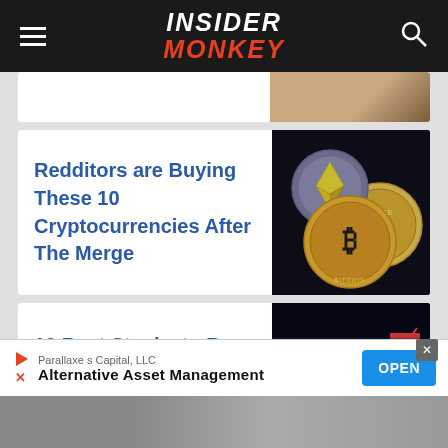INSIDER MONKEY
[Figure (photo): Partial view of a card image at top, partially cropped]
Redditors are Buying These 10 Cryptocurrencies After The Merge
[Figure (photo): Photo of cryptocurrency coins including Bitcoin, Ethereum, and Ripple on dark background]
10 Best Stocks to Buy According to Yale Finance Professor
[Figure (photo): Stock market chart on dark screen with trading data]
[Figure (infographic): Advertisement banner: Parallaxe s Capital, LLC - Alternative Asset Management - OPEN button]
[Figure (photo): Bottom strip partial image]